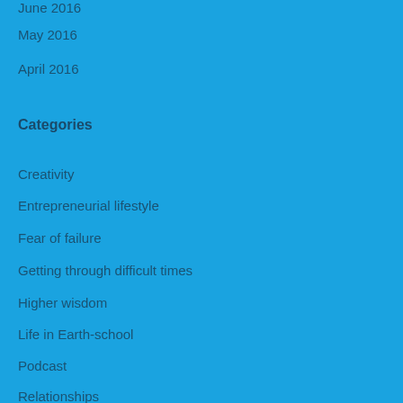June 2016
May 2016
April 2016
Categories
Creativity
Entrepreneurial lifestyle
Fear of failure
Getting through difficult times
Higher wisdom
Life in Earth-school
Podcast
Relationships